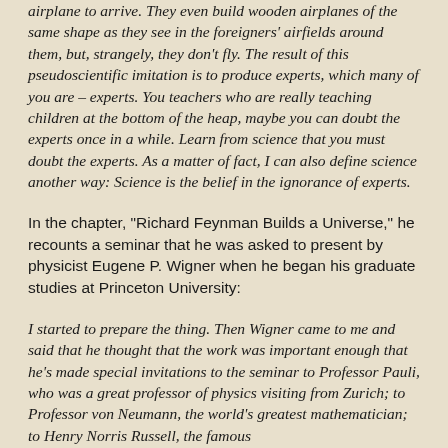airplane to arrive. They even build wooden airplanes of the same shape as they see in the foreigners' airfields around them, but, strangely, they don't fly. The result of this pseudoscientific imitation is to produce experts, which many of you are – experts. You teachers who are really teaching children at the bottom of the heap, maybe you can doubt the experts once in a while. Learn from science that you must doubt the experts. As a matter of fact, I can also define science another way: Science is the belief in the ignorance of experts.
In the chapter, "Richard Feynman Builds a Universe," he recounts a seminar that he was asked to present by physicist Eugene P. Wigner when he began his graduate studies at Princeton University:
I started to prepare the thing. Then Wigner came to me and said that he thought that the work was important enough that he's made special invitations to the seminar to Professor Pauli, who was a great professor of physics visiting from Zurich; to Professor von Neumann, the world's greatest mathematician; to Henry Norris Russell, the famous